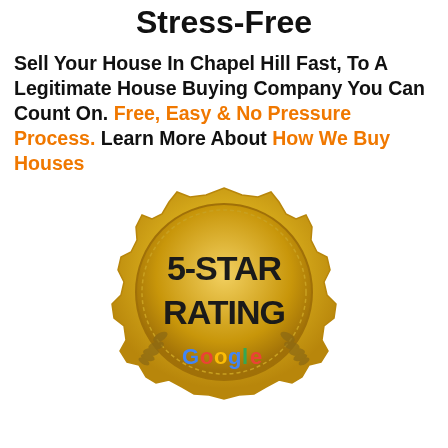Stress-Free
Sell Your House In Chapel Hill Fast, To A Legitimate House Buying Company You Can Count On. Free, Easy & No Pressure Process. Learn More About How We Buy Houses
[Figure (illustration): Gold badge/seal with '5-STAR RATING' text in the center and 'Google' logo at the bottom, with decorative scalloped edge and laurel wreath design.]